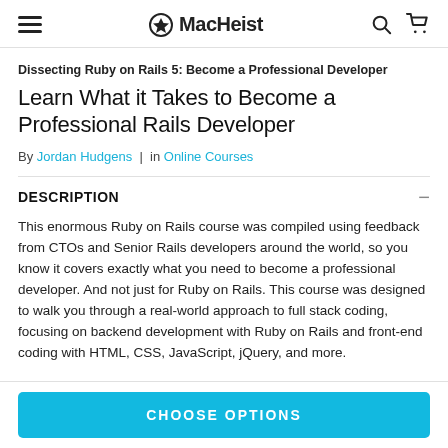MacHeist
Dissecting Ruby on Rails 5: Become a Professional Developer
Learn What it Takes to Become a Professional Rails Developer
By Jordan Hudgens | in Online Courses
DESCRIPTION
This enormous Ruby on Rails course was compiled using feedback from CTOs and Senior Rails developers around the world, so you know it covers exactly what you need to become a professional developer. And not just for Ruby on Rails. This course was designed to walk you through a real-world approach to full stack coding, focusing on backend development with Ruby on Rails and front-end coding with HTML, CSS, JavaScript, jQuery, and more.
CHOOSE OPTIONS